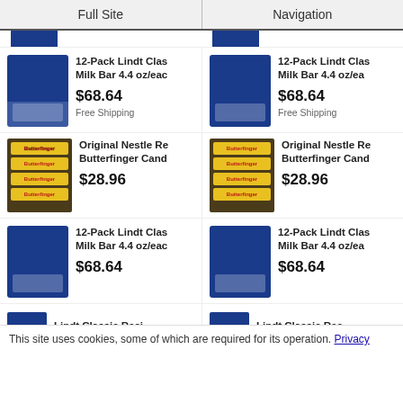Full Site | Navigation
[Figure (photo): Product listing: 12-Pack Lindt Classic Milk Bar 4.4 oz/each, $68.64, Free Shipping (left column)]
[Figure (photo): Product listing: 12-Pack Lindt Classic Milk Bar 4.4 oz/each, $68.64, Free Shipping (right column)]
[Figure (photo): Product listing: Original Nestle Butterfinger Candy, $28.96 (left column)]
[Figure (photo): Product listing: Original Nestle Butterfinger Candy, $28.96 (right column)]
[Figure (photo): Product listing: 12-Pack Lindt Classic Milk Bar 4.4 oz/each, $68.64 (left column, row 3)]
[Figure (photo): Product listing: 12-Pack Lindt Classic Milk Bar 4.4 oz/each, $68.64 (right column, row 3)]
[Figure (photo): Product listing: Lindt Classic Recipe (partial, bottom left)]
[Figure (photo): Product listing: Lindt Classic Recipe (partial, bottom right)]
This site uses cookies, some of which are required for its operation. Privacy